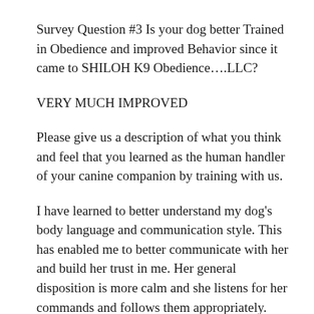Survey Question #3 Is your dog better Trained in Obedience and improved Behavior since it came to SHILOH K9 Obedience….LLC?
VERY MUCH IMPROVED
Please give us a description of what you think and feel that you learned as the human handler of your canine companion by training with us.
I have learned to better understand my dog's body language and communication style. This has enabled me to better communicate with her and build her trust in me. Her general disposition is more calm and she listens for her commands and follows them appropriately. She